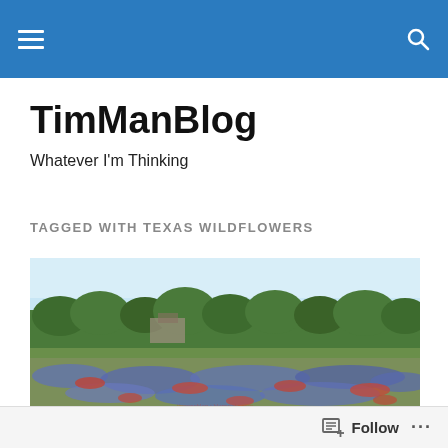TimManBlog navigation bar with hamburger menu and search icon
TimManBlog
Whatever I'm Thinking
TAGGED WITH TEXAS WILDFLOWERS
[Figure (photo): A wide field of Texas wildflowers including bluebonnets and Indian paintbrush in red and blue, with a backdrop of green trees and a pale blue sky. A building is partially visible among the trees.]
Follow  ...